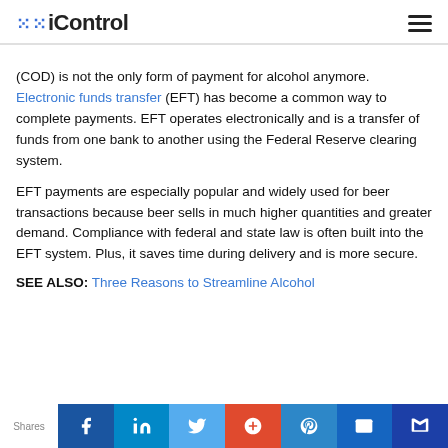iControl
(COD) is not the only form of payment for alcohol anymore. Electronic funds transfer (EFT) has become a common way to complete payments. EFT operates electronically and is a transfer of funds from one bank to another using the Federal Reserve clearing system.
EFT payments are especially popular and widely used for beer transactions because beer sells in much higher quantities and greater demand. Compliance with federal and state law is often built into the EFT system. Plus, it saves time during delivery and is more secure.
SEE ALSO: Three Reasons to Streamline Alcohol